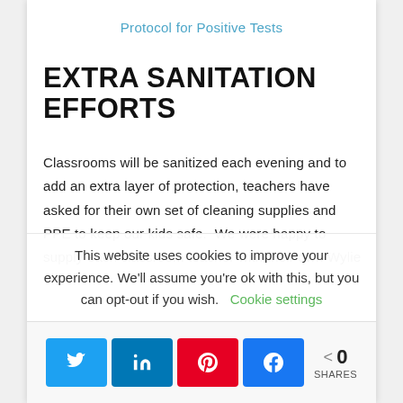Protocol for Positive Tests
EXTRA SANITATION EFFORTS
Classrooms will be sanitized each evening and to add an extra layer of protection, teachers have asked for their own set of cleaning supplies and PPE to keep our kids safe.  We were happy to supply each classroom teacher with their own Wylie
This website uses cookies to improve your experience. We'll assume you're ok with this, but you can opt-out if you wish.  Cookie settings
0 SHARES